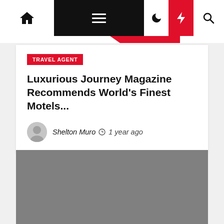Navigation bar with home, menu, dark mode, trending, and search icons
TRAVEL AGENT
Luxurious Journey Magazine Recommends World's Finest Motels...
Shelton Muro  1 year ago
[Figure (photo): Gray placeholder image for article photograph]